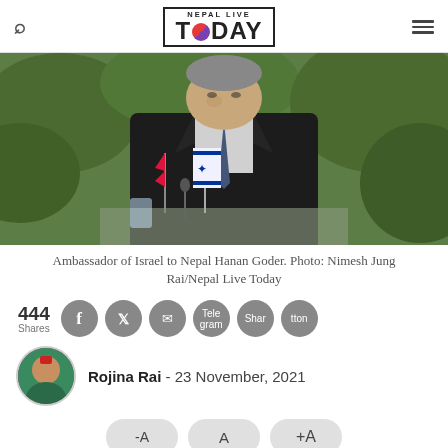Nepal Live Today
[Figure (photo): Ambassador of Israel to Nepal Hanan Goder seated outdoors with Nepal and Israel flags on the table, wearing a dark suit and blue tie, greenery in background.]
Ambassador of Israel to Nepal Hanan Goder. Photo: Nimesh Jung Rai/Nepal Live Today
444 Shares
Rojina Rai - 23 November, 2021
-A  A  +A